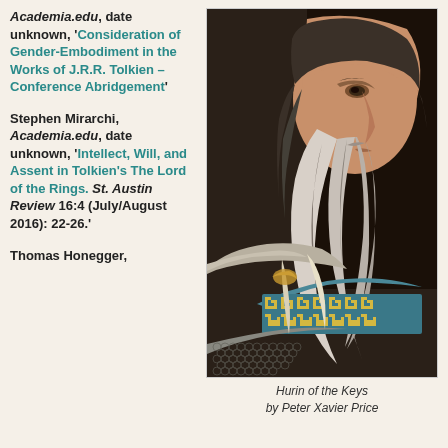Academia.edu, date unknown, 'Consideration of Gender-Embodiment in the Works of J.R.R. Tolkien – Conference Abridgement'
Stephen Mirarchi, Academia.edu, date unknown, 'Intellect, Will, and Assent in Tolkien's The Lord of the Rings. St. Austin Review 16:4 (July/August 2016): 22-26.'
Thomas Honegger,
[Figure (illustration): An illustrated portrait of Hurin of the Keys, a bearded man in profile looking right, wearing chainmail and decorated robes with geometric patterns, by Peter Xavier Price.]
Hurin of the Keys by Peter Xavier Price